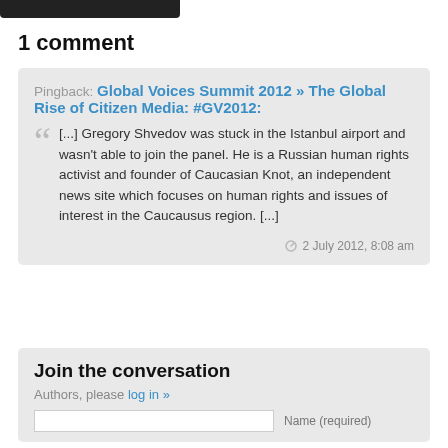1 comment
Pingback: Global Voices Summit 2012 » The Global Rise of Citizen Media: #GV2012:
[...] Gregory Shvedov was stuck in the Istanbul airport and wasn't able to join the panel. He is a Russian human rights activist and founder of Caucasian Knot, an independent news site which focuses on human rights and issues of interest in the Caucausus region. [...]
2 July 2012, 8:08 am
Join the conversation
Authors, please log in »